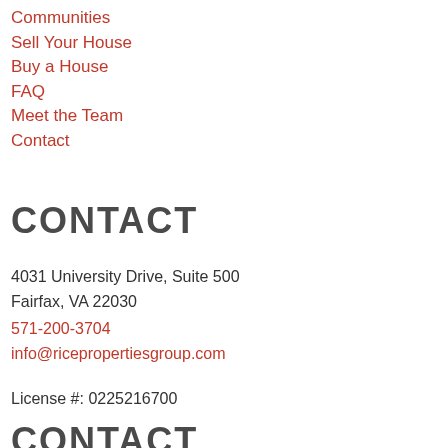Communities
Sell Your House
Buy a House
FAQ
Meet the Team
Contact
CONTACT
4031 University Drive, Suite 500
Fairfax, VA 22030
571-200-3704
info@ricepropertiesgroup.com
License #: 0225216700
CONTACT